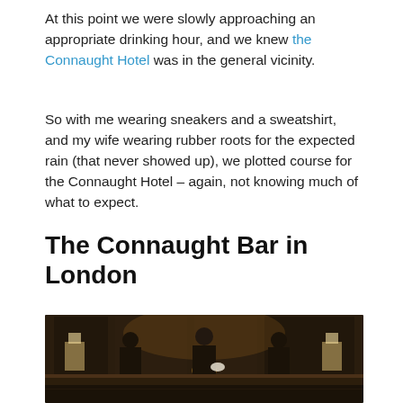At this point we were slowly approaching an appropriate drinking hour, and we knew the Connaught Hotel was in the general vicinity.
So with me wearing sneakers and a sweatshirt, and my wife wearing rubber roots for the expected rain (that never showed up), we plotted course for the Connaught Hotel – again, not knowing much of what to expect.
The Connaught Bar in London
[Figure (photo): Interior photo of the Connaught Bar in London showing bartenders in formal black attire working behind an ornate bar counter with mirrors, warm lighting from sconces and candles, and a luxurious dark décor.]